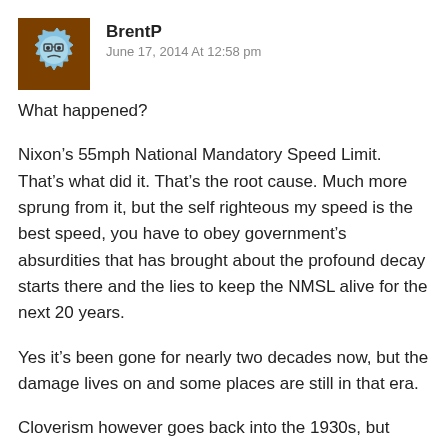[Figure (illustration): User avatar: a cartoon gear/cog face with glasses on a brown background, light blue gear shape]
BrentP
June 17, 2014 At 12:58 pm
What happened?
Nixon’s 55mph National Mandatory Speed Limit. That’s what did it. That’s the root cause. Much more sprung from it, but the self righteous my speed is the best speed, you have to obey government’s absurdities that has brought about the profound decay starts there and the lies to keep the NMSL alive for the next 20 years.
Yes it’s been gone for nearly two decades now, but the damage lives on and some places are still in that era.
Cloverism however goes back into the 1930s, but